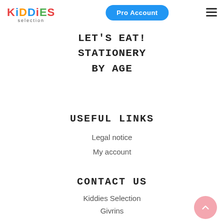[Figure (logo): Kiddies Selection logo with colorful letters and 'selection' subtitle]
Pro Account
[Figure (other): Hamburger menu icon]
LET'S EAT!
STATIONERY
BY AGE
USEFUL LINKS
Legal notice
My account
CONTACT US
Kiddies Selection
Givrins